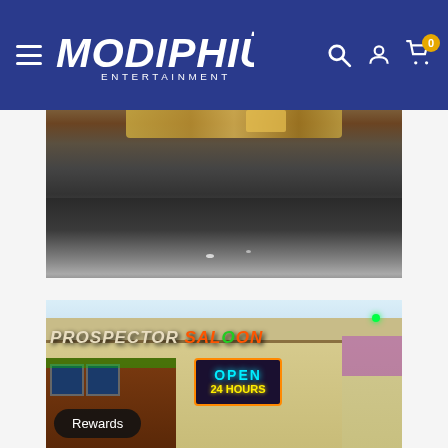Modiphius Entertainment navigation bar
[Figure (photo): Close-up photo of a weathered miniature or terrain piece showing dark grey gravel/road surface texture with some colored debris visible at top edge]
[Figure (photo): Photo of a detailed miniature building diorama depicting the Prospector Saloon, a Western-style building with neon signs reading 'OPEN 24 HOURS', illuminated with colored lights. A 'Rewards' button is visible at the bottom left.]